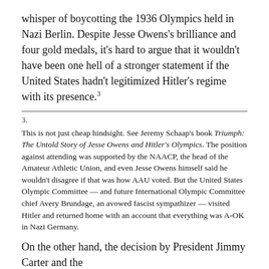whisper of boycotting the 1936 Olympics held in Nazi Berlin. Despite Jesse Owens's brilliance and four gold medals, it's hard to argue that it wouldn't have been one hell of a stronger statement if the United States hadn't legitimized Hitler's regime with its presence.³
3.

This is not just cheap hindsight. See Jeremy Schaap's book Triumph: The Untold Story of Jesse Owens and Hitler's Olympics. The position against attending was supported by the NAACP, the head of the Amateur Athletic Union, and even Jesse Owens himself said he wouldn't disagree if that was how AAU voted. But the United States Olympic Committee — and future International Olympic Committee chief Avery Brundage, an avowed fascist sympathizer — visited Hitler and returned home with an account that everything was A-OK in Nazi Germany.
On the other hand, the decision by President Jimmy Carter and the